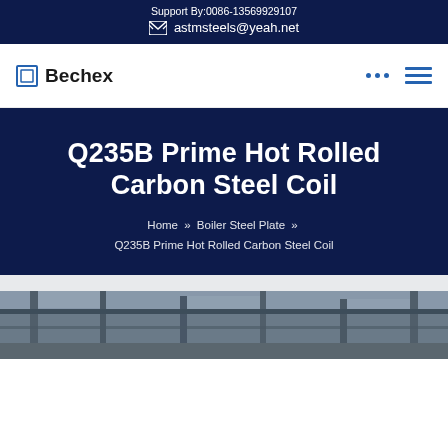Support By:0086-13569929107
astmsteels@yeah.net
[Figure (logo): Bechex company logo with square icon]
Q235B Prime Hot Rolled Carbon Steel Coil
Home » Boiler Steel Plate » Q235B Prime Hot Rolled Carbon Steel Coil
[Figure (photo): Industrial warehouse or steel facility interior photo, partially visible at bottom of page]